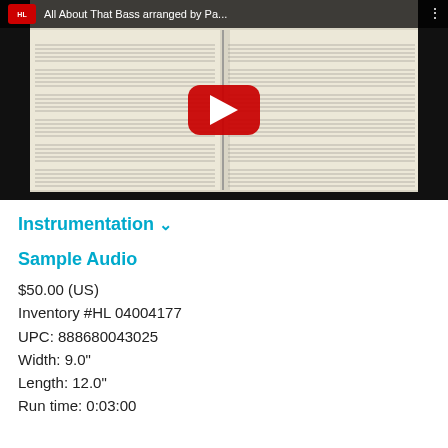[Figure (screenshot): YouTube video thumbnail showing sheet music titled 'All About That Bass arranged by Pa...' with a red YouTube play button in the center. The sheet music shows orchestral score pages in the background.]
Instrumentation ˅
Sample Audio
$50.00 (US)
Inventory #HL 04004177
UPC: 888680043025
Width: 9.0"
Length: 12.0"
Run time: 0:03:00